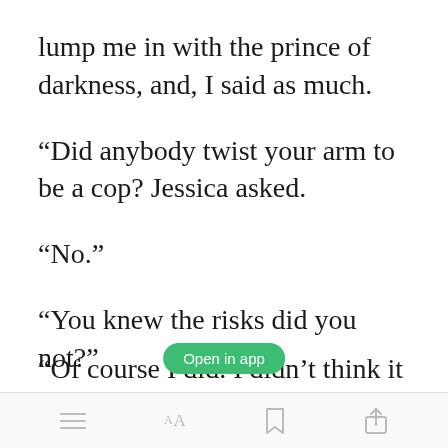lump me in with the prince of darkness, and, I said as much.
“Did anybody twist your arm to be a cop? Jessica asked.
“No.”
“You knew the risks did you not?”
“Of course I did. I didn’t think it
[Figure (other): Green 'Open in app' button overlay]
Bottom navigation bar with menu, font size, bookmark, and share icons